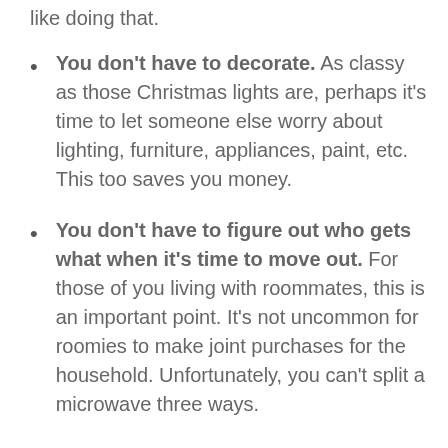like doing that.
You don't have to decorate. As classy as those Christmas lights are, perhaps it's time to let someone else worry about lighting, furniture, appliances, paint, etc. This too saves you money.
You don't have to figure out who gets what when it's time to move out. For those of you living with roommates, this is an important point. It's not uncommon for roomies to make joint purchases for the household. Unfortunately, you can't split a microwave three ways.